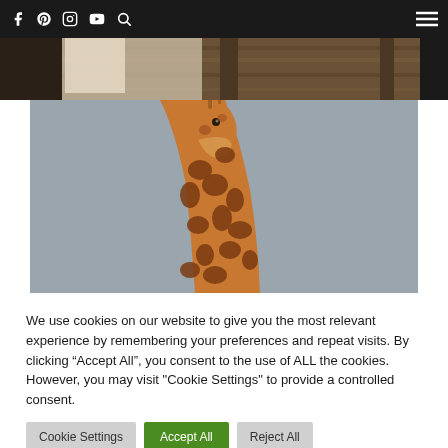Navigation bar with social icons (Facebook, Pinterest, Instagram, YouTube, Search) and hamburger menu
[Figure (photo): Partial top image showing wooden boards and foliage, cropped at top]
[Figure (photo): Giraffe head and neck photograph against grey background]
We use cookies on our website to give you the most relevant experience by remembering your preferences and repeat visits. By clicking “Accept All”, you consent to the use of ALL the cookies. However, you may visit "Cookie Settings" to provide a controlled consent.
Cookie Settings | Accept All | Reject All